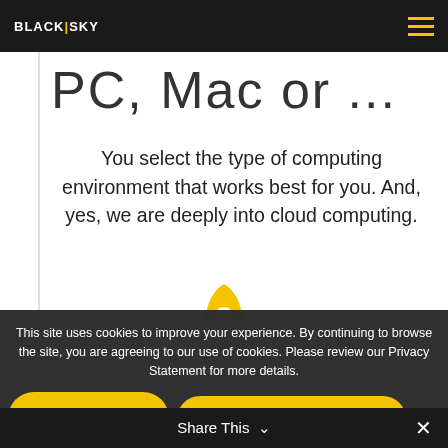BLACK|SKY
PC, Mac or ...
You select the type of computing environment that works best for you. And, yes, we are deeply into cloud computing.
[Figure (illustration): Rocket icon in yellow and dark blue/navy colors, partially visible]
This site uses cookies to improve your experience. By continuing to browse the site, you are agreeing to our use of cookies. Please review our Privacy Statement for more details.
OK
Cookies Policy
PRIVACY STATEMENT
Share This